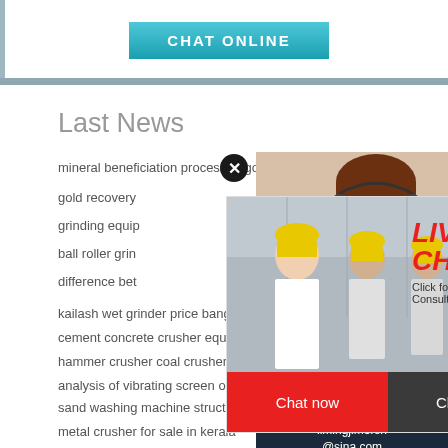[Figure (screenshot): Chat Online button with teal/cyan gradient background]
Last News
mineral beneficiation process of gold in hutti
gold recovery
grinding equip
ball roller grin
difference bet
kailash wet grinder price bangalore
cement concrete crusher equipment
hammer crusher coal crusher lime stone crusher
analysis of vibrating screen orbits
sand washing machine structure sand washing plant
metal crusher for sale in kerala
[Figure (screenshot): Live chat popup with workers in hard hats, LIVE CHAT title in red italic, Click for a Free Consultation subtitle, Chat now and Chat later buttons]
[Figure (screenshot): Right sidebar with customer service agent photo, have any requests click here text, Quotation button, Enquiry section, limingjlmofen@sina.com email, X close button]